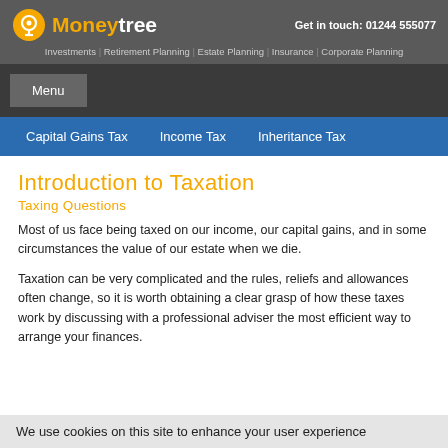Moneytree | Investments | Retirement Planning | Estate Planning | Insurance | Corporate Planning | Get in touch: 01244 555077
Menu
Capital Gains Tax | Income Tax | Inheritance Tax
Introduction to Taxation
Taxing Questions
Most of us face being taxed on our income, our capital gains, and in some circumstances the value of our estate when we die.
Taxation can be very complicated and the rules, reliefs and allowances often change, so it is worth obtaining a clear grasp of how these taxes work by discussing with a professional adviser the most efficient way to arrange your finances.
We use cookies on this site to enhance your user experience